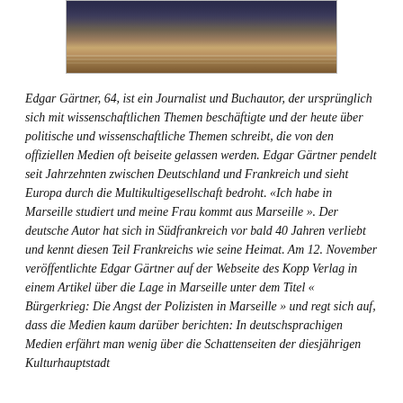[Figure (photo): Photograph of a building in Marseille, showing a historic facade with decorative architectural details, photographed at dusk or night with warm tones.]
Edgar Gärtner, 64, ist ein Journalist und Buchautor, der ursprünglich sich mit wissenschaftlichen Themen beschäftigte und der heute über politische und wissenschaftliche Themen schreibt, die von den offiziellen Medien oft beiseite gelassen werden. Edgar Gärtner pendelt seit Jahrzehnten zwischen Deutschland und Frankreich und sieht Europa durch die Multikultigesellschaft bedroht. «Ich habe in Marseille studiert und meine Frau kommt aus Marseille ». Der deutsche Autor hat sich in Südfrankreich vor bald 40 Jahren verliebt und kennt diesen Teil Frankreichs wie seine Heimat. Am 12. November veröffentlichte Edgar Gärtner auf der Webseite des Kopp Verlag in einem Artikel über die Lage in Marseille unter dem Titel « Bürgerkrieg: Die Angst der Polizisten in Marseille » und regt sich auf, dass die Medien kaum darüber berichten: In deutschsprachigen Medien erfährt man wenig über die Schattenseiten der diesjährigen Kulturhauptstadt